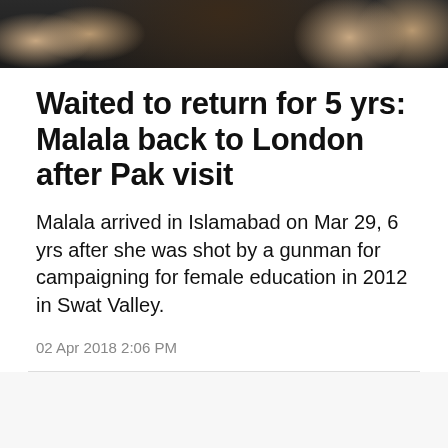[Figure (photo): Dark photo strip showing hands/arms against a dark background, partial view of a person in colorful clothing]
Waited to return for 5 yrs: Malala back to London after Pak visit
Malala arrived in Islamabad on Mar 29, 6 yrs after she was shot by a gunman for campaigning for female education in 2012 in Swat Valley.
02 Apr 2018 2:06 PM
[Figure (logo): The Asian Age newspaper watermark logo in light gray at bottom of page, with a red scroll-to-top button in the lower right corner]